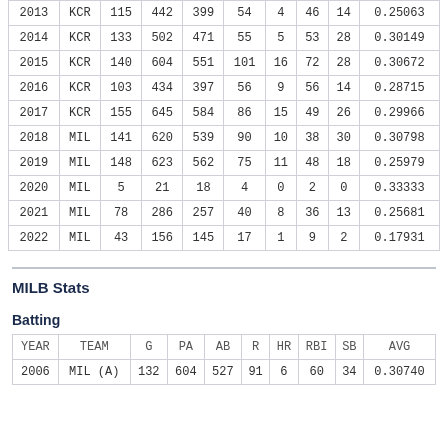| YEAR | TEAM | G | PA | AB | R | HR | RBI | SB | AVG |
| --- | --- | --- | --- | --- | --- | --- | --- | --- | --- |
| 2013 | KCR | 115 | 442 | 399 | 54 | 4 | 46 | 14 | 0.25063 |
| 2014 | KCR | 133 | 502 | 471 | 55 | 5 | 53 | 28 | 0.30149 |
| 2015 | KCR | 140 | 604 | 551 | 101 | 16 | 72 | 28 | 0.30672 |
| 2016 | KCR | 103 | 434 | 397 | 56 | 9 | 56 | 14 | 0.28715 |
| 2017 | KCR | 155 | 645 | 584 | 86 | 15 | 49 | 26 | 0.29966 |
| 2018 | MIL | 141 | 620 | 539 | 90 | 10 | 38 | 30 | 0.30798 |
| 2019 | MIL | 148 | 623 | 562 | 75 | 11 | 48 | 18 | 0.25979 |
| 2020 | MIL | 5 | 21 | 18 | 4 | 0 | 2 | 0 | 0.33333 |
| 2021 | MIL | 78 | 286 | 257 | 40 | 8 | 36 | 13 | 0.25681 |
| 2022 | MIL | 43 | 156 | 145 | 17 | 1 | 9 | 2 | 0.17931 |
MILB Stats
Batting
| YEAR | TEAM | G | PA | AB | R | HR | RBI | SB | AVG |
| --- | --- | --- | --- | --- | --- | --- | --- | --- | --- |
| 2006 | MIL (A) | 132 | 604 | 527 | 91 | 6 | 60 | 34 | 0.30740 |